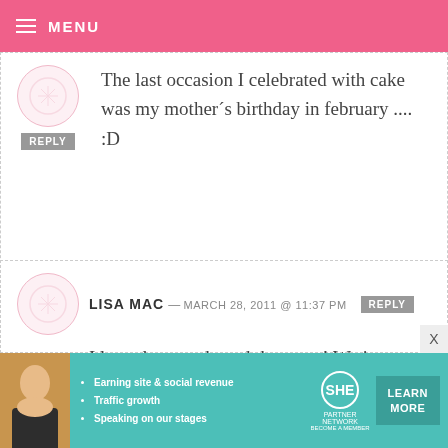MENU
The last occasion I celebrated with cake was my mother´s birthday in february .... :D
LISA MAC — MARCH 28, 2011 @ 11:37 PM
I love those and need them too! We just celebrated my 17 year old daughter's birthday with cake. Hope you are doing well. :)
[Figure (infographic): SHE Partner Network advertisement banner: Earning site & social revenue, Traffic growth, Speaking on our stages. LEARN MORE button.]